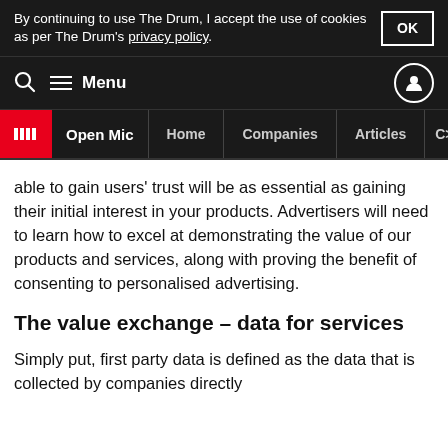By continuing to use The Drum, I accept the use of cookies as per The Drum's privacy policy. OK
Menu
Open Mic Home Companies Articles C>
able to gain users' trust will be as essential as gaining their initial interest in your products. Advertisers will need to learn how to excel at demonstrating the value of our products and services, along with proving the benefit of consenting to personalised advertising.
The value exchange – data for services
Simply put, first party data is defined as the data that is collected by companies directly